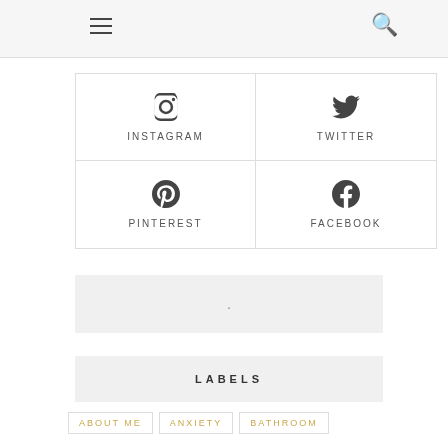Navigation header with hamburger menu and search icon
[Figure (infographic): 2x2 grid of social media icons with labels: Instagram (camera icon), Twitter (bird icon), Pinterest (P icon), Facebook (f icon)]
[Figure (other): Gray placeholder box with a dot in the center]
LABELS
ABOUT ME
ANXIETY
BATHROOM